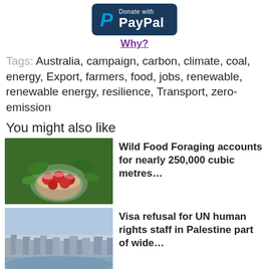[Figure (logo): PayPal donation button: dark navy rounded rectangle with PayPal logo (blue P) and text 'Donate with PayPal' in white]
Why?
Tags: Australia, campaign, carbon, climate, coal, energy, Export, farmers, food, jobs, renewable, renewable energy, resilience, Transport, zero-emission
You might also like
[Figure (photo): Overhead view of a basket of red and white mushrooms/berries on green plants]
Wild Food Foraging accounts for nearly 250,000 cubic metres…
[Figure (photo): Aerial view of a dense city with buildings and coastline]
Visa refusal for UN human rights staff in Palestine part of wide…
[Figure (photo): Small thumbnail image]
UN Committee on Elimination of Racial Discrimination publishes